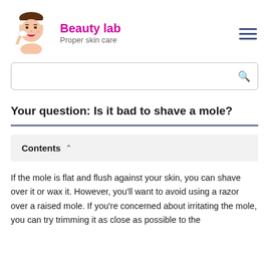Beauty lab
Proper skin care
[Figure (illustration): Cartoon illustration of a woman with a white headband applying cream to her face]
Your question: Is it bad to shave a mole?
Contents
If the mole is flat and flush against your skin, you can shave over it or wax it. However, you'll want to avoid using a razor over a raised mole. If you're concerned about irritating the mole, you can try trimming it as close as possible to the